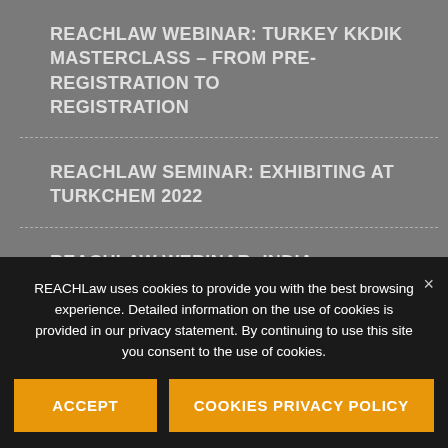REACHLAW WEBINAR: TURKEY KKDIK MASTERCLASS – FROM PRE-REGISTRATION TO REGISTRATION
REACHLAW SEMINAR: EXHIBITING AT TURKCHEM 2022
REACHLAW WEBINAR: INDIA CHEMICALS REGULATION AND BIS MASTERCLASS
REACHLaw uses cookies to provide you with the best browsing experience. Detailed information on the use of cookies is provided in our privacy statement. By continuing to use this site you consent to the use of cookies.
ACCEPT
COOKIES PRIVACY POLICY